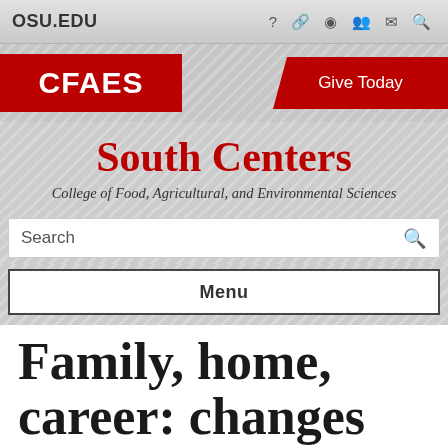OSU.EDU
[Figure (logo): CFAES red logo banner with Give Today button]
South Centers
College of Food, Agricultural, and Environmental Sciences
Search
Menu
Family, home, career: changes